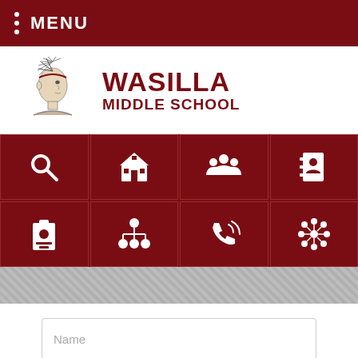MENU
[Figure (logo): Wasilla Middle School logo with Native American chief illustration and school name]
[Figure (infographic): Navigation icon grid with 8 icons: search, school building, group/staff, contact book, ID badge, org chart, phone, settings/network]
Name
Title